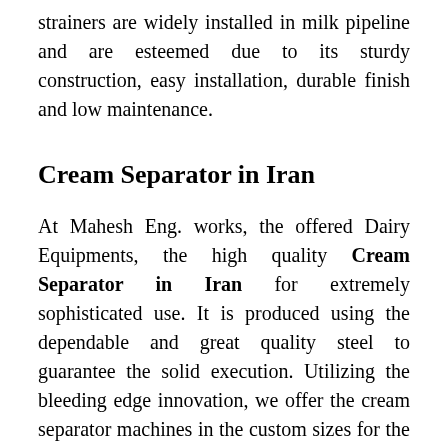strainers are widely installed in milk pipeline and are esteemed due to its sturdy construction, easy installation, durable finish and low maintenance.
Cream Separator in Iran
At Mahesh Eng. works, the offered Dairy Equipments, the high quality Cream Separator in Iran for extremely sophisticated use. It is produced using the dependable and great quality steel to guarantee the solid execution. Utilizing the bleeding edge innovation, we offer the cream separator machines in the custom sizes for the variable needs of our clients. The cream separators are